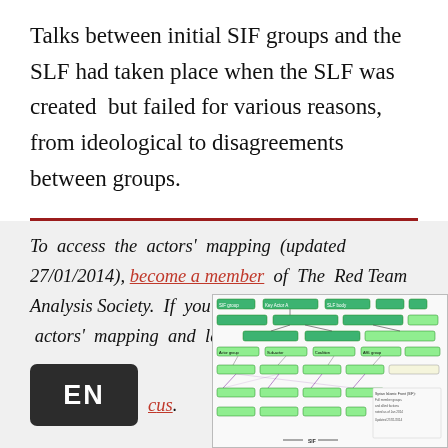Talks between initial SIF groups and the SLF had taken place when the SLF was created but failed for various reasons, from ideological to disagreements between groups.
To access the actors' mapping (updated 27/01/2014), become a member of The Red Team Analysis Society. If you are interested in specific actors' mapping and latest updates,
[Figure (other): EN language badge / button overlay]
[Figure (other): Network/actors mapping diagram with green boxes and connecting lines]
contact us.